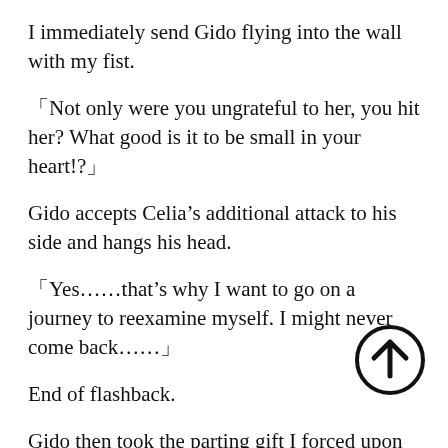I immediately send Gido flying into the wall with my fist.
「Not only were you ungrateful to her, you hit her? What good is it to be small in your heart!?」
Gido accepts Celia’s additional attack to his side and hangs his head.
「Yes……that’s why I want to go on a journey to reexamine myself. I might never come back……」
End of flashback.
Gido then took the parting gift I forced upon him and disappeared in the south.
I later told what happened to Gido’s wife, who initially
[Figure (other): Upward arrow icon in a circle, bottom-right corner]